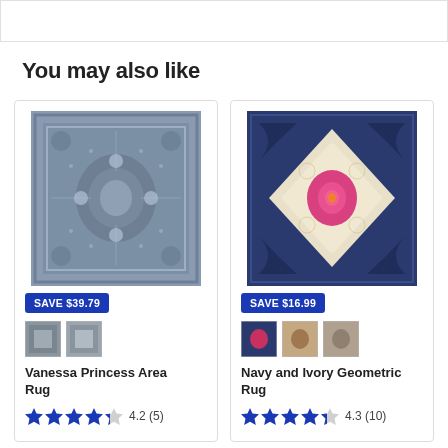You may also like
[Figure (photo): Vanessa Princess Area Rug – grey and blue ornate medallion pattern]
SAVE $39.79
Vanessa Princess Area Rug
4.2 (5)
[Figure (photo): Navy and Ivory Geometric Rug – navy blue background with ivory and pink medallion]
SAVE $16.99
Navy and Ivory Geometric Rug
4.3 (10)